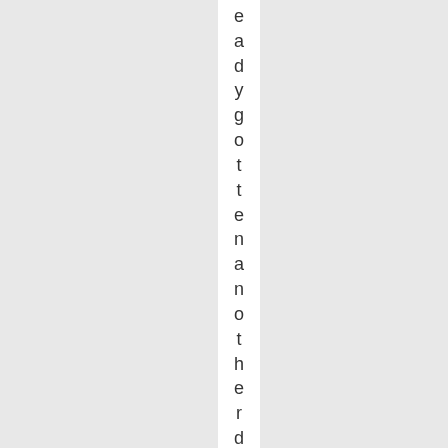eadygottenanotherd og, i don't tkn